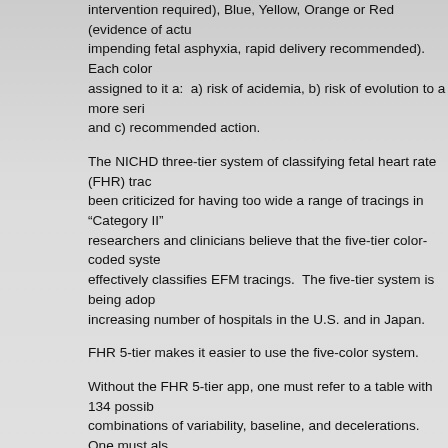intervention required), Blue, Yellow, Orange or Red (evidence of actual impending fetal asphyxia, rapid delivery recommended). Each color assigned to it a: a) risk of acidemia, b) risk of evolution to a more serious and c) recommended action.
The NICHD three-tier system of classifying fetal heart rate (FHR) trac been criticized for having too wide a range of tracings in "Category II" researchers and clinicians believe that the five-tier color-coded system effectively classifies EFM tracings. The five-tier system is being adopted by an increasing number of hospitals in the U.S. and in Japan.
FHR 5-tier makes it easier to use the five-color system.
Without the FHR 5-tier app, one must refer to a table with 134 possible combinations of variability, baseline, and decelerations. One must also memorize or refer to the definitions for mild, moderate and severe decelerations, which are complex and sometimes confusing.
When using the FHR 5-tier app it is not necessary to refer to any other chart. Variability and baseline, and the shape, nadir, and duration of decelerations are entered with buttons on the consecutive screens. The app calculates the severity of the deceleration and the color for each tracing. All aspects of the tracing are summarized on the colored results screen, and the user can quickly communicate with others.
Management recommendations as outlined by Parer and Ikeda are given: who needs to be at the bedside; what other personnel should be available and the operating room. In addition, conservative management techniques are listed. For Orange tracings, the final results screen reminds the user to consider stopping oxytocin, or amnioinfusion.